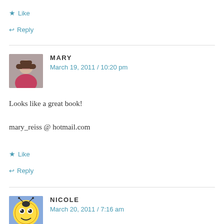Like
Reply
MARY
March 19, 2011 / 10:20 pm
Looks like a great book!
mary_reiss @ hotmail.com
Like
Reply
NICOLE
March 20, 2011 / 7:16 am